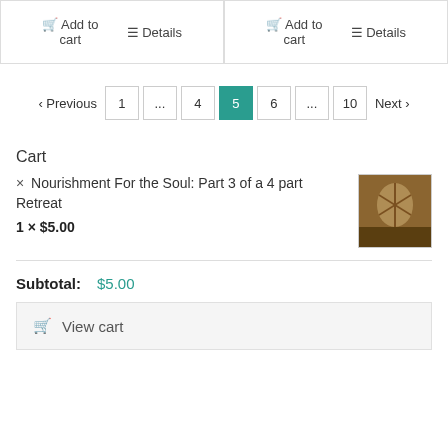Add to cart | Details (left card)
Add to cart | Details (right card)
< Previous 1 ... 4 5 6 ... 10 Next >
Cart
× Nourishment For the Soul: Part 3 of a 4 part Retreat
1 × $5.00
Subtotal: $5.00
View cart